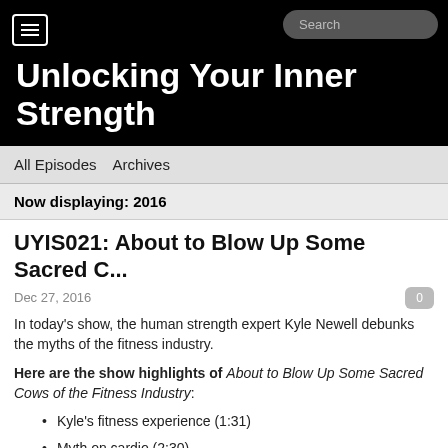Unlocking Your Inner Strength
All Episodes   Archives
Now displaying: 2016
UYIS021: About to Blow Up Some Sacred C...
Dec 27, 2016
In today's show, the human strength expert Kyle Newell debunks the myths of the fitness industry.
Here are the show highlights of About to Blow Up Some Sacred Cows of the Fitness Industry:
Kyle's fitness experience (1:31)
Myth on cardio (2:30)